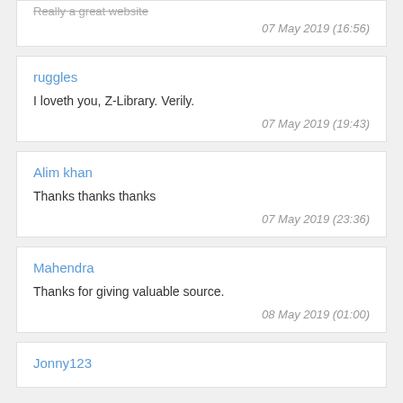Really a great website
07 May 2019 (16:56)
ruggles
I loveth you, Z-Library. Verily.
07 May 2019 (19:43)
Alim khan
Thanks thanks thanks
07 May 2019 (23:36)
Mahendra
Thanks for giving valuable source.
08 May 2019 (01:00)
Jonny123